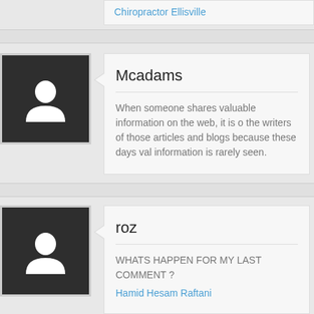Chiropractor Ellisville
Mcadams
When someone shares valuable information on the web, it is o the writers of those articles and blogs because these days val information is rarely seen.
roz
WHATS HAPPEN FOR MY LAST COMMENT ?
Hamid Hesam Raftani
avamusic